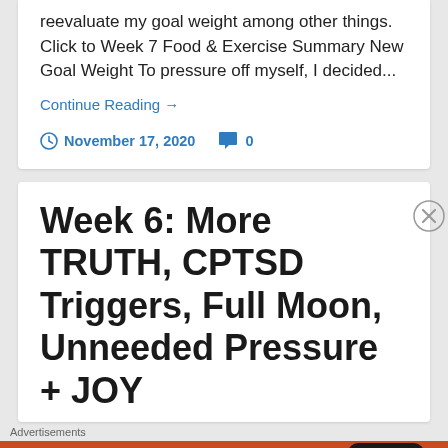reevaluate my goal weight among other things. Click to Week 7 Food & Exercise Summary New Goal Weight To pressure off myself, I decided...
Continue Reading →
November 17, 2020  0
Week 6: More TRUTH, CPTSD Triggers, Full Moon, Unneeded Pressure + JOY
Advertisements
[Figure (screenshot): DuckDuckGo advertisement banner with orange background showing text 'Search, browse, and email with more privacy. All in One Free App' with a phone image and DuckDuckGo logo]